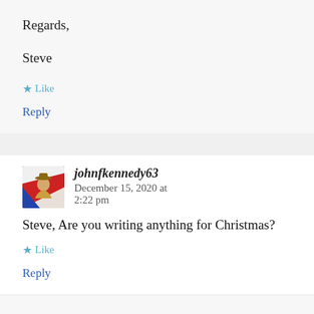Regards,
Steve
★ Like
Reply
johnfkennedy63   December 15, 2020 at 2:22 pm
Steve, Are you writing anything for Christmas?
★ Like
Reply